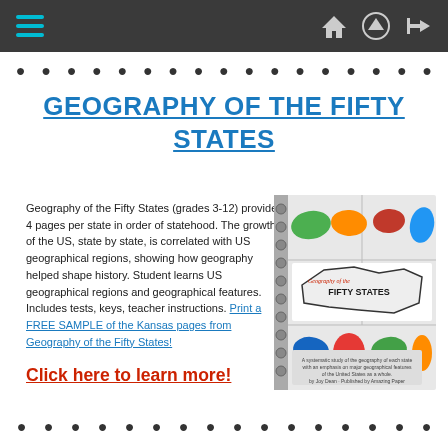Navigation bar with hamburger menu and icons
GEOGRAPHY OF THE FIFTY STATES
Geography of the Fifty States (grades 3-12) provides 4 pages per state in order of statehood. The growth of the US, state by state, is correlated with US geographical regions, showing how geography helped shape history. Student learns US geographical regions and geographical features. Includes tests, keys, teacher instructions. Print a FREE SAMPLE of the Kansas pages from Geography of the Fifty States!
[Figure (photo): Book cover of Geography of the Fifty States showing colorful 3D state shapes arranged in a grid with a US map in the center]
Click here to learn more!